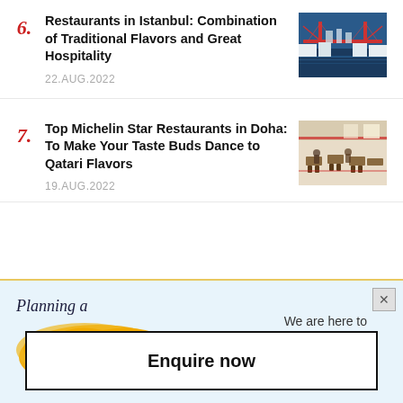6. Restaurants in Istanbul: Combination of Traditional Flavors and Great Hospitality — 22.AUG.2022
7. Top Michelin Star Restaurants in Doha: To Make Your Taste Buds Dance to Qatari Flavors — 19.AUG.2022
[Figure (infographic): Ad banner: Planning a Trip? We are here to Help — with orange splash background for Trip and dark blue script for Help]
Enquire now